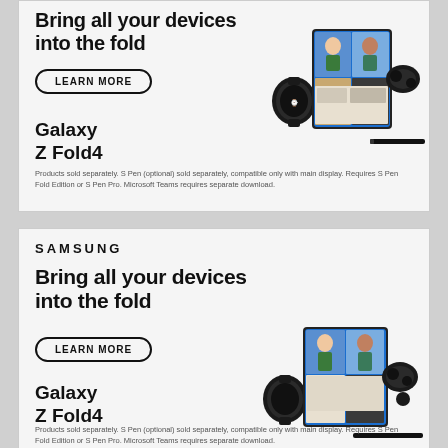Bring all your devices into the fold
LEARN MORE
Galaxy Z Fold4
[Figure (illustration): Samsung Galaxy Z Fold4 shown open with video call on screen, Galaxy Watch, Galaxy Buds, and S Pen]
Products sold separately. S Pen (optional) sold separately, compatible only with main display. Requires S Pen Fold Edition or S Pen Pro. Microsoft Teams requires separate download.
SAMSUNG
Bring all your devices into the fold
LEARN MORE
Galaxy Z Fold4
[Figure (illustration): Samsung Galaxy Z Fold4 shown open with video call on screen, Galaxy Watch, Galaxy Buds, and S Pen]
Products sold separately. S Pen (optional) sold separately, compatible only with main display. Requires S Pen Fold Edition or S Pen Pro. Microsoft Teams requires separate download.